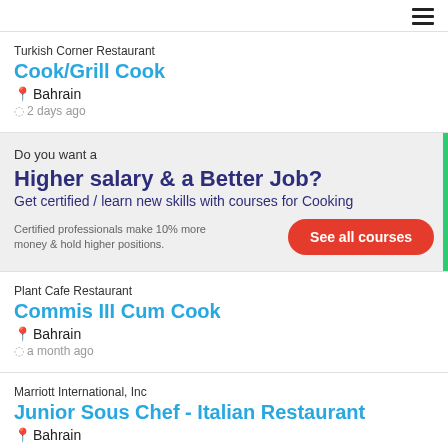☰
Turkish Corner Restaurant
Cook/Grill Cook
📍Bahrain
🕐2 days ago
Do you want a
Higher salary & a Better Job?
Get certified / learn new skills with courses for Cooking
Certified professionals make 10% more money & hold higher positions.
See all courses
Plant Cafe Restaurant
Commis III Cum Cook
📍Bahrain
🕐a month ago
Marriott International, Inc
Junior Sous Chef - Italian Restaurant
📍Bahrain